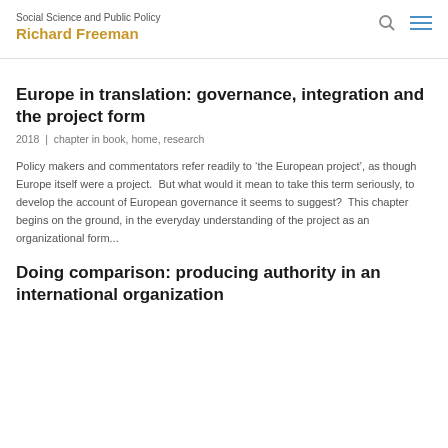Social Science and Public Policy
Richard Freeman
Europe in translation: governance, integration and the project form
2018  |  chapter in book, home, research
Policy makers and commentators refer readily to 'the European project', as though Europe itself were a project.  But what would it mean to take this term seriously, to develop the account of European governance it seems to suggest?  This chapter begins on the ground, in the everyday understanding of the project as an organizational form...
Doing comparison: producing authority in an international organization